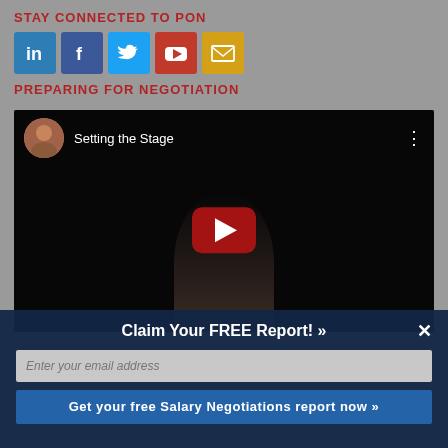STAY CONNECTED TO PON
[Figure (infographic): Social media icons: LinkedIn, Facebook, Twitter, YouTube, Email]
PREPARING FOR NEGOTIATION
[Figure (screenshot): YouTube video thumbnail titled 'Setting the Stage' with a play button overlay showing a person presenting on stage]
Claim Your FREE Report! »
Enter your email address
Get your free Salary Negotiations report now »